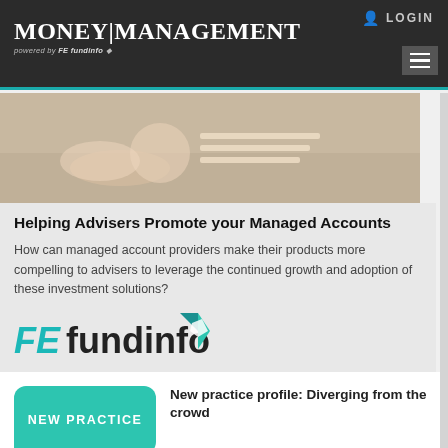MONEY|MANAGEMENT powered by FE fundinfo
[Figure (screenshot): Website header with Money|Management logo powered by FE fundinfo, login button, and hamburger menu on dark background]
[Figure (photo): Close-up photo of hands working with documents and mouse on desk]
Helping Advisers Promote your Managed Accounts
How can managed account providers make their products more compelling to advisers to leverage the continued growth and adoption of these investment solutions?
[Figure (logo): FE fundinfo logo with teal diamond geometric icon]
New practice profile: Diverging from the crowd
[Figure (illustration): Teal rounded badge shape with text NEW PRACTICE]